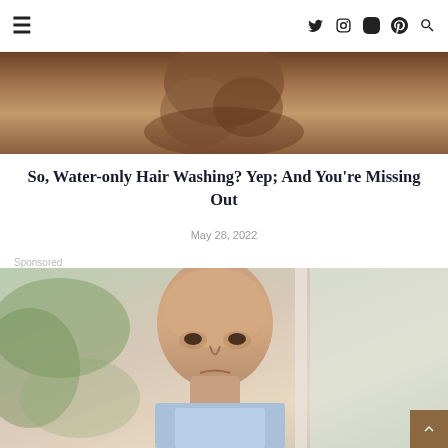≡   f  twitter  instagram  pinterest  search
[Figure (photo): Close-up of a person's bare back/shoulders, warm brown skin tones]
So, Water-only Hair Washing? Yep; And You're Missing Out
May 28, 2022
Sponsored
[Figure (photo): An older bald man in a light blue shirt, looking serious, photographed near a window with greenery visible outside]